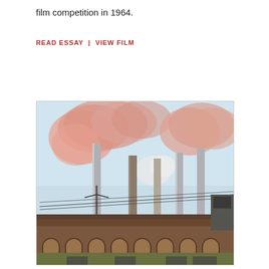film competition in 1964.
READ ESSAY | VIEW FILM
[Figure (photo): Photograph of an industrial factory complex with tall smokestacks emitting pink/red smoke billowing into a pale blue sky. The factory buildings are red brick with arched windows. Power lines and poles are visible in the foreground.]